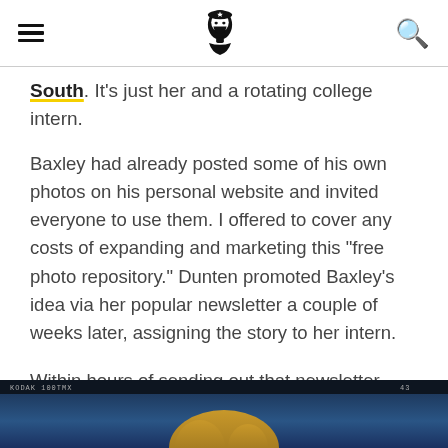[hamburger menu] [logo icon] [search icon]
South. It's just her and a rotating college intern.
Baxley had already posted some of his own photos on his personal website and invited everyone to use them. I offered to cover any costs of expanding and marketing this “free photo repository.” Dunten promoted Baxley’s idea via her popular newsletter a couple of weeks later, assigning the story to her intern.
Within hours of sending out that newsletter, Dunten and Baxley were in the viewfinder of photojournalists around the country. And the picture wasn’t pretty.
[Figure (photo): Film strip photo at bottom of page showing a dark blue sky background with a golden/brown shape silhouette, labeled with KODAK 100TMX film text and frame number 43.]